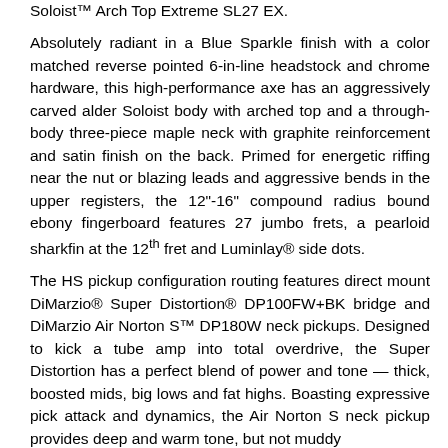Soloist™ Arch Top Extreme SL27 EX.
Absolutely radiant in a Blue Sparkle finish with a color matched reverse pointed 6-in-line headstock and chrome hardware, this high-performance axe has an aggressively carved alder Soloist body with arched top and a through-body three-piece maple neck with graphite reinforcement and satin finish on the back. Primed for energetic riffing near the nut or blazing leads and aggressive bends in the upper registers, the 12"-16" compound radius bound ebony fingerboard features 27 jumbo frets, a pearloid sharkfin at the 12th fret and Luminlay® side dots.
The HS pickup configuration routing features direct mount DiMarzio® Super Distortion® DP100FW+BK bridge and DiMarzio Air Norton S™ DP180W neck pickups. Designed to kick a tube amp into total overdrive, the Super Distortion has a perfect blend of power and tone — thick, boosted mids, big lows and fat highs. Boasting expressive pick attack and dynamics, the Air Norton S neck pickup provides deep and warm tone, but not muddy